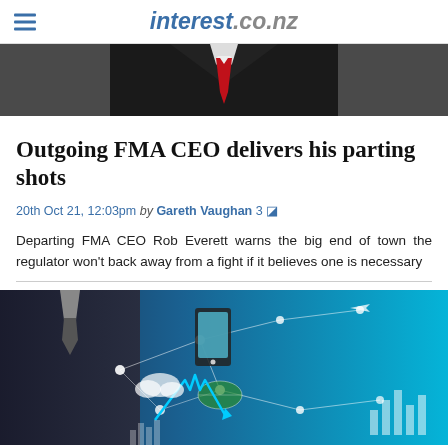interest.co.nz
[Figure (photo): Partial view of a man in a dark suit with a red tie, cropped at chest level, grey background]
Outgoing FMA CEO delivers his parting shots
20th Oct 21, 12:03pm by Gareth Vaughan 3
Departing FMA CEO Rob Everett warns the big end of town the regulator won't back away from a fight if it believes one is necessary
[Figure (photo): Man in a dark suit holding a technology-themed image showing a globe, smartphones, network connections, a rising arrow chart, and digital icons against a blue background]